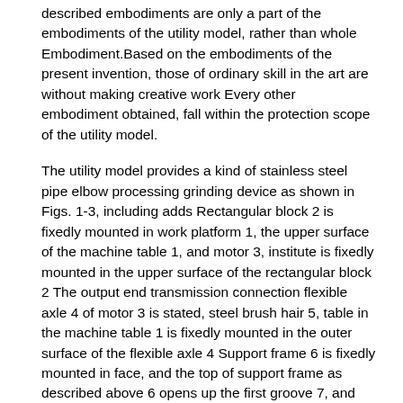described embodiments are only a part of the embodiments of the utility model, rather than whole Embodiment.Based on the embodiments of the present invention, those of ordinary skill in the art are without making creative work Every other embodiment obtained, fall within the protection scope of the utility model.
The utility model provides a kind of stainless steel pipe elbow processing grinding device as shown in Figs. 1-3, including adds Rectangular block 2 is fixedly mounted in work platform 1, the upper surface of the machine table 1, and motor 3, institute is fixedly mounted in the upper surface of the rectangular block 2 The output end transmission connection flexible axle 4 of motor 3 is stated, steel brush hair 5, table in the machine table 1 is fixedly mounted in the outer surface of the flexible axle 4 Support frame 6 is fixedly mounted in face, and the top of support frame as described above 6 opens up the first groove 7, and bullet is fixedly mounted in 7 inner wall of the first groove Spring plate 8, the outer surface of the left and right sides of the flexible axle 4 open up rectangular channel 9, and the top of the rectangular channel 9 opens up the second groove 10, Spring bearer plate 11 is fixedly